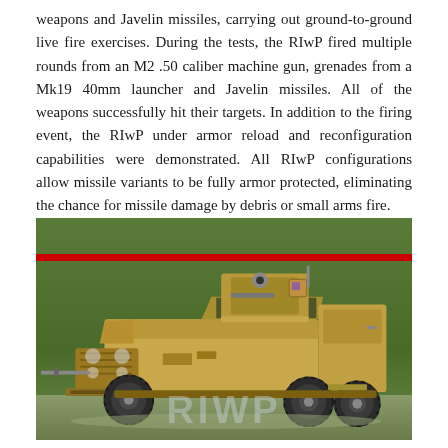weapons and Javelin missiles, carrying out ground-to-ground live fire exercises. During the tests, the RIwP fired multiple rounds from an M2 .50 caliber machine gun, grenades from a Mk19 40mm launcher and Javelin missiles. All of the weapons successfully hit their targets. In addition to the firing event, the RIwP under armor reload and reconfiguration capabilities were demonstrated. All RIwP configurations allow missile variants to be fully armor protected, eliminating the chance for missile damage by debris or small arms fire.
[Figure (photo): A tan/beige military JLTV (Joint Light Tactical Vehicle) with a remote weapon system turret mounted on top, parked on a gravel/dirt surface in front of a tree line. A red horizontal stripe appears near the top of the image frame. A light-colored watermark text is overlaid at the bottom of the image.]